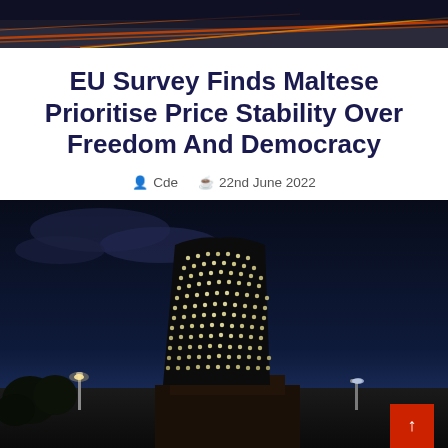[Figure (photo): Top banner photo with light trails on a road at dusk, dark tones with red and yellow streaks]
EU Survey Finds Maltese Prioritise Price Stability Over Freedom And Democracy
Cde   22nd June 2022
[Figure (photo): Night-time photograph of a tall cylindrical tower structure covered in lights, resembling a nuclear cooling tower or industrial structure illuminated with grid-pattern lighting against a dark twilight sky. Street lights and trees visible in foreground. Red scroll-to-top button in bottom-right corner.]